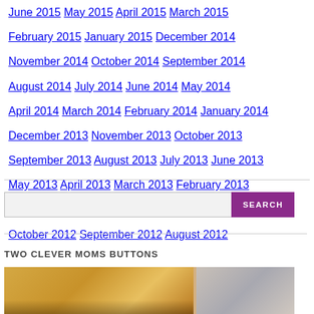June 2015  May 2015  April 2015  March 2015  February 2015  January 2015  December 2014  November 2014  October 2014  September 2014  August 2014  July 2014  June 2014  May 2014  April 2014  March 2014  February 2014  January 2014  December 2013  November 2013  October 2013  September 2013  August 2013  July 2013  June 2013  May 2013  April 2013  March 2013  February 2013  January 2013  December 2012  November 2012  October 2012  September 2012  August 2012
SEARCH (search box)
TWO CLEVER MOMS BUTTONS
[Figure (photo): Partial image strip showing two photos side by side, cropped at bottom of page]